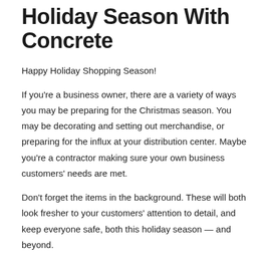Holiday Season With Concrete
Happy Holiday Shopping Season!
If you're a business owner, there are a variety of ways you may be preparing for the Christmas season. You may be decorating and setting out merchandise, or preparing for the influx at your distribution center. Maybe you're a contractor making sure your own business customers' needs are met.
Don't forget the items in the background. These will both look fresher to your customers' attention to detail, and keep everyone safe, both this holiday season — and beyond.